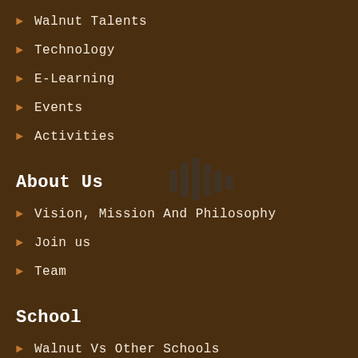Walnut Talents
Technology
E-Learning
Events
Activities
About Us
Vision, Mission And Philosophy
Join us
Team
School
Walnut Vs Other Schools
Walkthrough
Future Ready